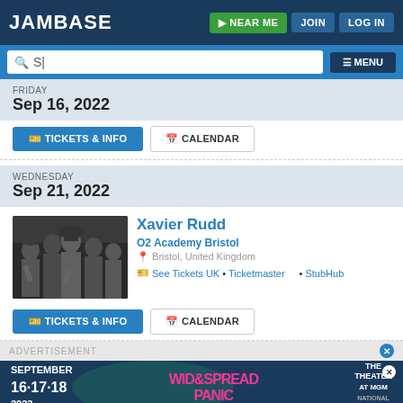JamBase | NEAR ME | JOIN | LOG IN
Q S| MENU
FRIDAY
Sep 16, 2022
TICKETS & INFO | CALENDAR
WEDNESDAY
Sep 21, 2022
[Figure (photo): Black and white group photo of musicians, band promotional image for Xavier Rudd]
Xavier Rudd
O2 Academy Bristol
Bristol, United Kingdom
See Tickets UK • Ticketmaster • StubHub
TICKETS & INFO | CALENDAR
ADVERTISEMENT
[Figure (infographic): Advertisement banner: SEPTEMBER 16·17·18 2022 WIDESPREAD PANIC THE THEATER AT MGM NATIONAL HARBOR]